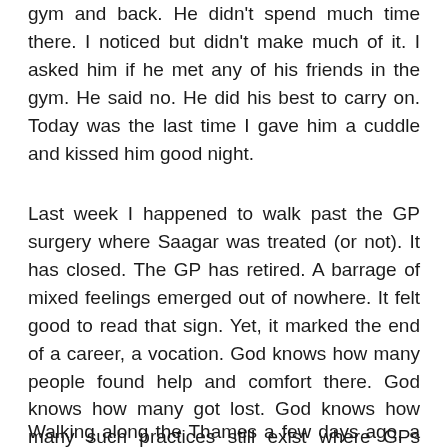gym and back. He didn't spend much time there. I noticed but didn't make much of it. I asked him if he met any of his friends in the gym. He said no. He did his best to carry on. Today was the last time I gave him a cuddle and kissed him good night.
Last week I happened to walk past the GP surgery where Saagar was treated (or not). It has closed. The GP has retired. A barrage of mixed feelings emerged out of nowhere. It felt good to read that sign. Yet, it marked the end of a career, a vocation. God knows how many people found help and comfort there. God knows how many got lost. God knows how many such practices still exist where GPs work single-handedly and in isolation, hiring locums on occasion.
Walking along the Thames a few days ago, a stream of